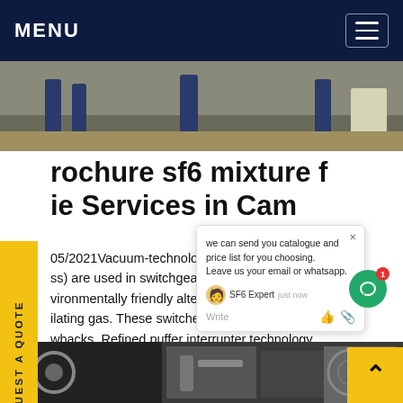MENU
[Figure (photo): Workers in blue uniforms performing field service work outdoors, top photo strip]
brochure sf6 mixture f ie Services in Cam
05/2021Vacuum-technology loa C (ss) are used in switchgear fill w vironmentally friendly alternative ilating gas. These switches have some wbacks. Refined puffer interrupter technology mises a reliable, cost-effective and easy-to-use alternative.Get price
[Figure (screenshot): Chat popup overlay showing: 'we can send you catalogue and price list for you choosing. Leave us your email or whatsapp.' with SF6 Expert agent, just now, Write/thumbs up/paperclip icons]
[Figure (photo): Bottom strip photo showing industrial equipment and machinery]
REQUEST A QUOTE (side tab)